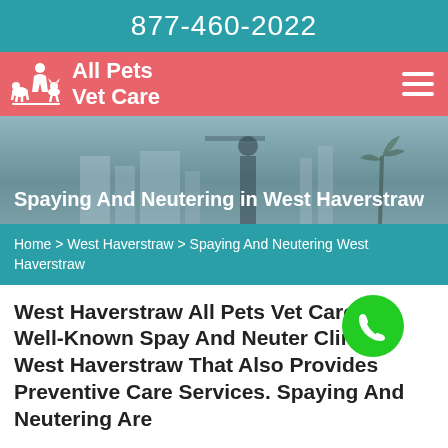877-460-2022
[Figure (logo): All Pets Vet Care logo with silhouette of pets and person on salmon/pink background with hamburger menu icon]
[Figure (photo): Hero background image showing outdoor scene, partially visible building and palm tree silhouettes in muted teal/gray tones]
Spaying And Neutering in West Haverstraw
Home > West Haverstraw > Spaying And Neutering West Haverstraw
West Haverstraw All Pets Vet Care is A Well-Known Spay And Neuter Clinic in West Haverstraw That Also Provides Preventive Care Services. Spaying And Neutering Are